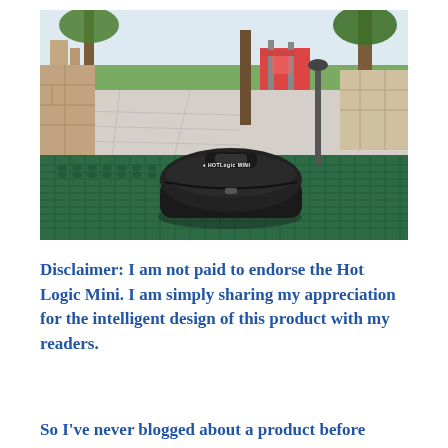[Figure (photo): A black Hot Logic Mini lunch bag/case sitting on a green metal mesh outdoor picnic table, with a park background showing trees, a playground, and walkways.]
Disclaimer: I am not paid to endorse the Hot Logic Mini. I am simply sharing my appreciation for the intelligent design of this product with my readers.
So I've never blogged about a product before